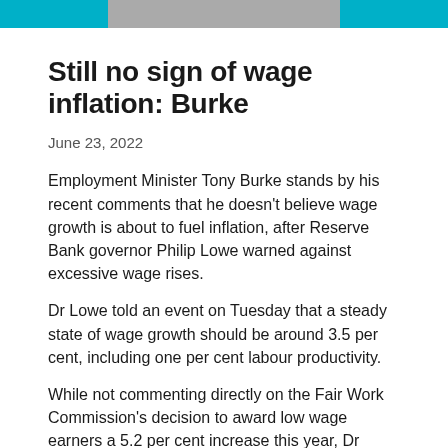[Figure (photo): Header image with teal/cyan colored bands on left and right sides and a grey/photo section in the center]
Still no sign of wage inflation: Burke
June 23, 2022
Employment Minister Tony Burke stands by his recent comments that he doesn’t believe wage growth is about to fuel inflation, after Reserve Bank governor Philip Lowe warned against excessive wage rises.
Dr Lowe told an event on Tuesday that a steady state of wage growth should be around 3.5 per cent, including one per cent labour productivity.
While not commenting directly on the Fair Work Commission’s decision to award low wage earners a 5.2 per cent increase this year, Dr Lowe